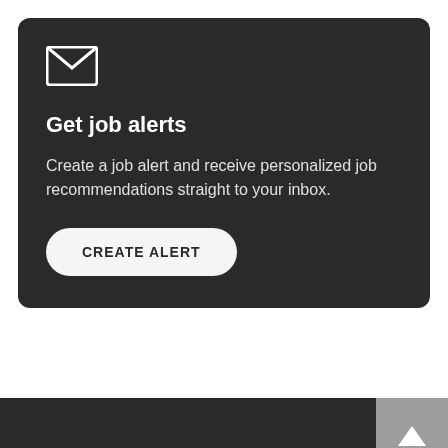[Figure (illustration): Email envelope icon (white outline on dark background)]
Get job alerts
Create a job alert and receive personalized job recommendations straight to your inbox.
CREATE ALERT
[Figure (illustration): Up arrow icon in grey box]
FOR JOBSEEKERS
My Science Career
Find a Job